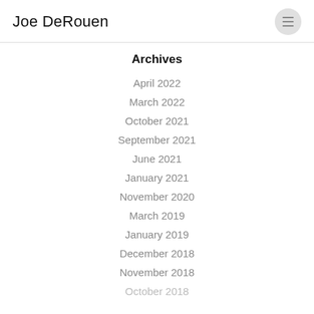Joe DeRouen
Archives
April 2022
March 2022
October 2021
September 2021
June 2021
January 2021
November 2020
March 2019
January 2019
December 2018
November 2018
October 2018